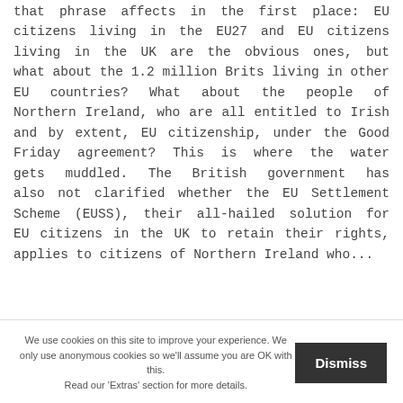that phrase affects in the first place: EU citizens living in the EU27 and EU citizens living in the UK are the obvious ones, but what about the 1.2 million Brits living in other EU countries? What about the people of Northern Ireland, who are all entitled to Irish and by extent, EU citizenship, under the Good Friday agreement? This is where the water gets muddled. The British government has also not clarified whether the EU Settlement Scheme (EUSS), their all-hailed solution for EU citizens in the UK to retain their rights, applies to citizens of Northern Ireland who...
We use cookies on this site to improve your experience. We only use anonymous cookies so we'll assume you are OK with this. Read our 'Extras' section for more details.